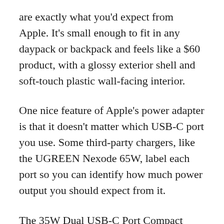are exactly what you'd expect from Apple. It's small enough to fit in any daypack or backpack and feels like a $60 product, with a glossy exterior shell and soft-touch plastic wall-facing interior.
One nice feature of Apple's power adapter is that it doesn't matter which USB-C port you use. Some third-party chargers, like the UGREEN Nexode 65W, label each port so you can identify how much power output you should expect from it.
The 35W Dual USB-C Port Compact Power Adapter, on the other hand, doesn't prioritize one port over the other. You'll get the full advertised output when you connect a single device capable of accepting 35W of power to